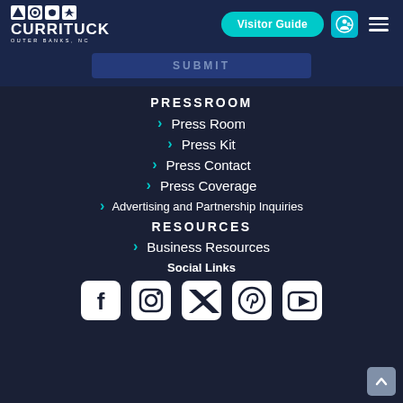[Figure (logo): Currituck Outer Banks NC logo with icons]
Visitor Guide
SUBMIT
PRESSROOM
Press Room
Press Kit
Press Contact
Press Coverage
Advertising and Partnership Inquiries
RESOURCES
Business Resources
Social Links
[Figure (illustration): Social media icons: Facebook, Instagram, Twitter, Pinterest, YouTube]